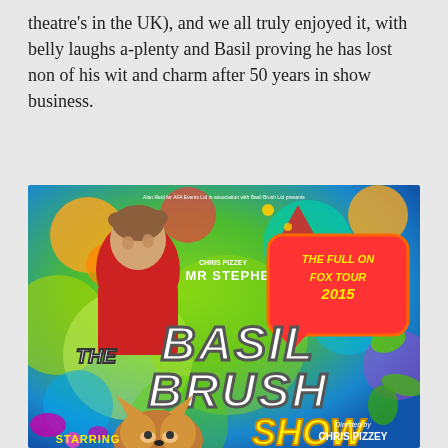theatre's in the UK), and we all truly enjoyed it, with belly laughs a-plenty and Basil proving he has lost non of his wit and charm after 50 years in show business.
[Figure (photo): Promotional poster for The Basil Brush Show – The Full On Fox Tour 2015. Colourful poster featuring Chris Pizzey as Mr Stephen and the Basil Brush puppet. Bold graffiti-style lettering reads 'THE BASIL BRUSH SHOW'. Speech bubble reads 'THE FULL ON FOX TOUR 2015'. Directed by Chris Pizzey. Starring label at bottom.]